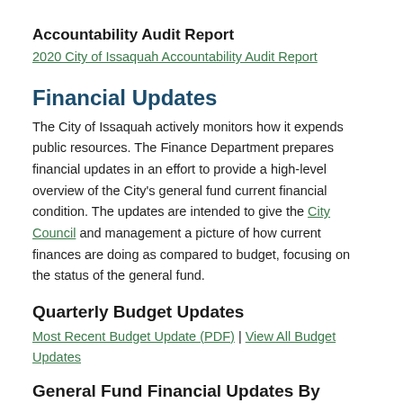Accountability Audit Report
2020 City of Issaquah Accountability Audit Report
Financial Updates
The City of Issaquah actively monitors how it expends public resources. The Finance Department prepares financial updates in an effort to provide a high-level overview of the City's general fund current financial condition. The updates are intended to give the City Council and management a picture of how current finances are doing as compared to budget, focusing on the status of the general fund.
Quarterly Budget Updates
Most Recent Budget Update (PDF) | View All Budget Updates
General Fund Financial Updates By Month
Link provided to the City's most recent General Fund